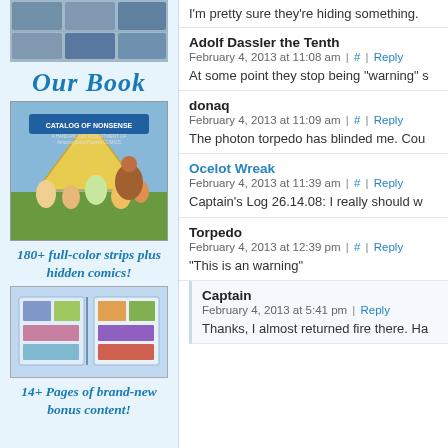[Figure (illustration): Left sidebar ad for a comic book. Shows comic strip thumbnails at top, 'Our Book' title, book cover illustration with characters, '180+ full-color strips plus hidden comics!', open book illustration, '14+ Pages of brand-new bonus content!']
I'm pretty sure they're hiding something.
Adolf Dassler the Tenth
February 4, 2013 at 11:08 am | # | Reply
At some point they stop being "warning" s
donaq
February 4, 2013 at 11:09 am | # | Reply
The photon torpedo has blinded me. Cou
Ocelot Wreak
February 4, 2013 at 11:39 am | # | Reply
Captain's Log 26.14.08: I really should w
Torpedo
February 4, 2013 at 12:39 pm | # | Reply
"This is an warning"
Captain
February 4, 2013 at 5:41 pm | Reply
Thanks, I almost returned fire there. Ha